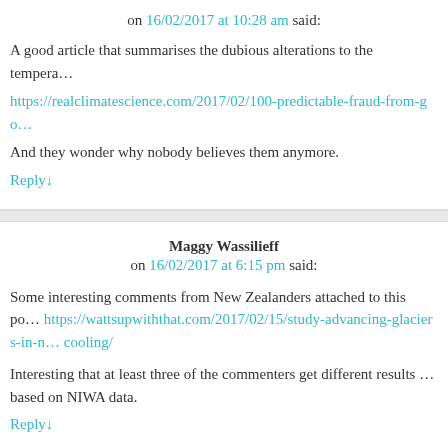on 16/02/2017 at 10:28 am said:
A good article that summarises the dubious alterations to the tempera…
https://realclimatescience.com/2017/02/100-predictable-fraud-from-go…
And they wonder why nobody believes them anymore.
Reply↓
Maggy Wassilieff
on 16/02/2017 at 6:15 pm said:
Some interesting comments from New Zealanders attached to this po… https://wattsupwiththat.com/2017/02/15/study-advancing-glaciers-in-n… cooling/
Interesting that at least three of the commenters get different results … based on NIWA data.
Reply↓